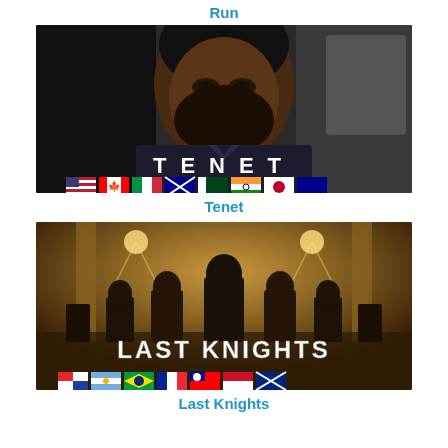Run
[Figure (photo): Movie poster for Tenet showing a bearded man in a suit sitting in a car, with the word TENET in large white letters and a row of country flags at the bottom.]
Tenet
[Figure (photo): Movie poster for Last Knights showing a group of armored warriors in a grand hall with warm golden lighting, with the words LAST KNIGHTS in large white letters and a row of country flags at the bottom.]
Last Knights